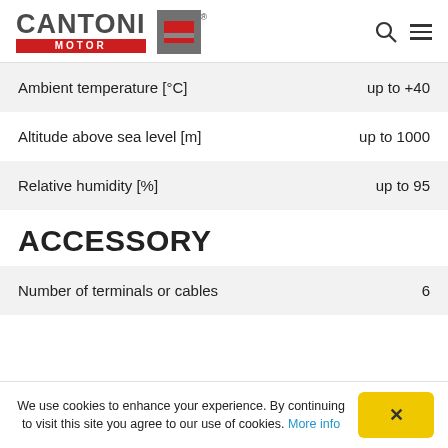[Figure (logo): Cantoni Motor logo with red bar and grey square icon]
| Parameter | Value |
| --- | --- |
| Ambient temperature [°C] | up to +40 |
| Altitude above sea level [m] | up to 1000 |
| Relative humidity [%] | up to 95 |
ACCESSORY
| Parameter | Value |
| --- | --- |
| Number of terminals or cables | 6 |
We use cookies to enhance your experience. By continuing to visit this site you agree to our use of cookies. More info